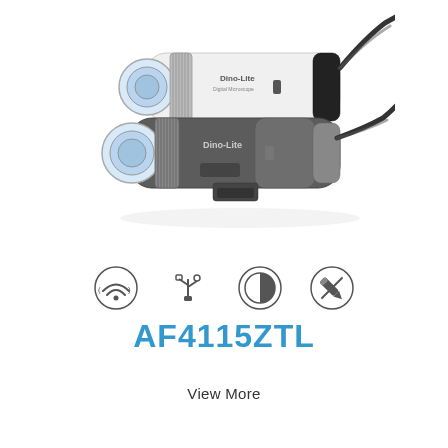[Figure (photo): Two Dino-Lite digital microscopes (one white/cream colored, one dark gray/metal) shown side by side diagonally, each with USB cable, magnification lens, and focus ring. Brand label 'Dino-Lite Digital Microscope' visible on the white unit.]
[Figure (infographic): Four feature icons in a row: WiFi/wireless signal icon, USB symbol icon, half-circle/contrast icon, and a pencil/no-writing icon with a circle-slash through it.]
AF4115ZTL
View More